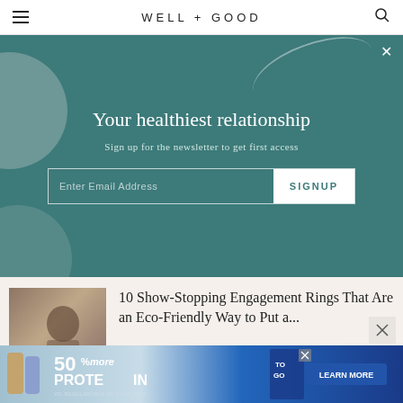WELL+GOOD
Your healthiest relationship
Sign up for the newsletter to get first access
10 Show-Stopping Engagement Rings That Are an Eco-Friendly Way to Put a...
[Figure (photo): Ad banner showing protein drink with '50% more PROTEIN' text and 'LEARN MORE' button]